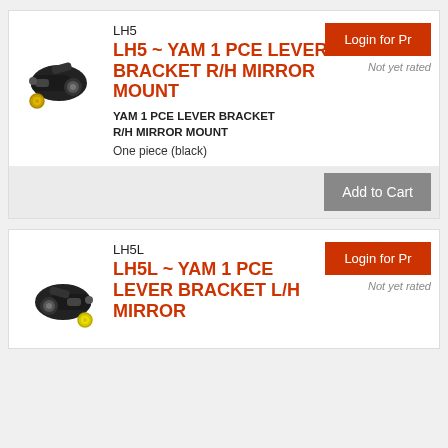LH5
[Figure (photo): Photo of LH5 lever bracket part, black with gold fitting]
LH5 ~ YAM 1 PCE LEVER BRACKET R/H MIRROR MOUNT
Login for Pr
Not yet rated
YAM 1 PCE LEVER BRACKET R/H MIRROR MOUNT
One piece (black)
Add to Cart
LH5L
[Figure (photo): Photo of LH5L lever bracket part, black with yellow fitting]
LH5L ~ YAM 1 PCE LEVER BRACKET L/H MIRROR
Login for Pr
Not yet rated